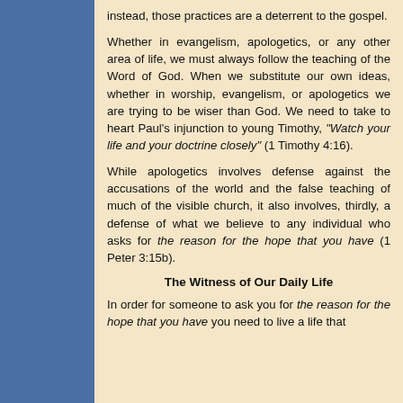instead, those practices are a deterrent to the gospel.
Whether in evangelism, apologetics, or any other area of life, we must always follow the teaching of the Word of God. When we substitute our own ideas, whether in worship, evangelism, or apologetics we are trying to be wiser than God. We need to take to heart Paul's injunction to young Timothy, "Watch your life and your doctrine closely" (1 Timothy 4:16).
While apologetics involves defense against the accusations of the world and the false teaching of much of the visible church, it also involves, thirdly, a defense of what we believe to any individual who asks for the reason for the hope that you have (1 Peter 3:15b).
The Witness of Our Daily Life
In order for someone to ask you for the reason for the hope that you have you need to live a life that